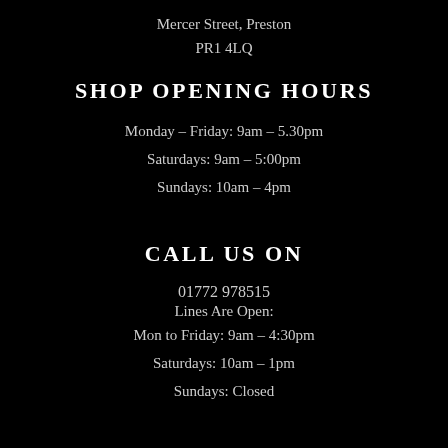Mercer Street, Preston
PR1 4LQ
SHOP OPENING HOURS
Monday – Friday: 9am – 5.30pm
Saturdays: 9am – 5:00pm
Sundays: 10am – 4pm
CALL US ON
01772 978515
Lines Are Open:
Mon to Friday: 9am – 4:30pm
Saturdays: 10am – 1pm
Sundays: Closed